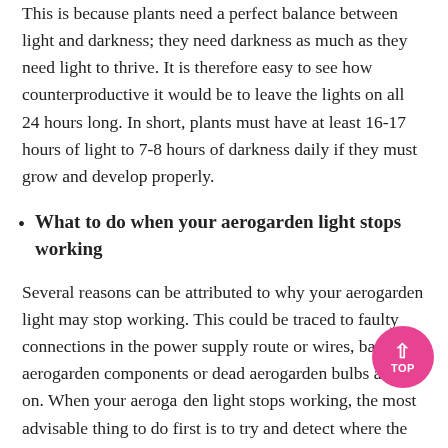This is because plants need a perfect balance between light and darkness; they need darkness as much as they need light to thrive. It is therefore easy to see how counterproductive it would be to leave the lights on all 24 hours long. In short, plants must have at least 16-17 hours of light to 7-8 hours of darkness daily if they must grow and develop properly.
What to do when your aerogarden light stops working
Several reasons can be attributed to why your aerogarden light may stop working. This could be traced to faulty connections in the power supply route or wires, bad aerogarden components or dead aerogarden bulbs and so on. When your aerogarden light stops working, the most advisable thing to do first is to try and detect where the fault or problem comes